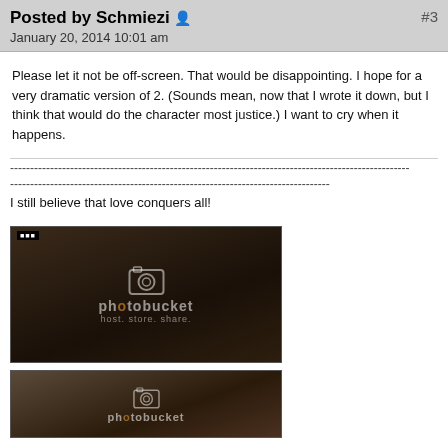Posted by Schmiezi  #3
January 20, 2014 10:01 am
Please let it not be off-screen. That would be disappointing. I hope for a very dramatic version of 2. (Sounds mean, now that I wrote it down, but I think that would do the character most justice.) I want to cry when it happens.
----------------------------------------------------------------------------------------------------
--------------------------------------------------------------------------------
I still believe that love conquers all!
[Figure (photo): A person (man) looking downward, dark cinematic still with BBC logo watermark in top-left corner, Photobucket watermark overlay in center]
[Figure (photo): A person with curly hair, partial view, dark cinematic still with Photobucket watermark overlay]